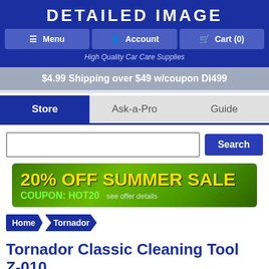DETAILED IMAGE
Menu | Account | Cart (0)
High Quality Car Care Supplies
$4.99 Shipping over $49 w/coupon DI499
Store | Ask-a-Pro | Guide
[Figure (other): 20% OFF SUMMER SALE banner with COUPON: HOT20, see offer details]
Home > Tornador
Tornador Classic Cleaning Tool Z-010
My Offers ^